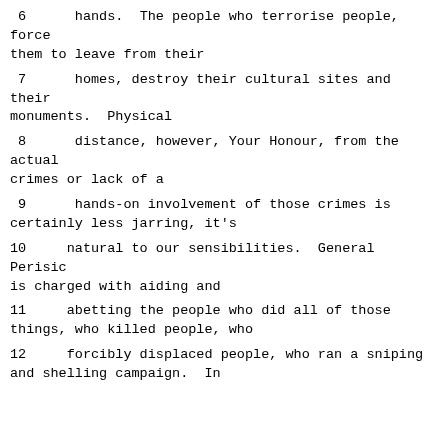6      hands.  The people who terrorise people, force them to leave from their
7      homes, destroy their cultural sites and their monuments.  Physical
8      distance, however, Your Honour, from the actual crimes or lack of a
9      hands-on involvement of those crimes is certainly less jarring, it's
10     natural to our sensibilities.  General Perisic is charged with aiding and
11     abetting the people who did all of those things, who killed people, who
12     forcibly displaced people, who ran a sniping and shelling campaign.  In